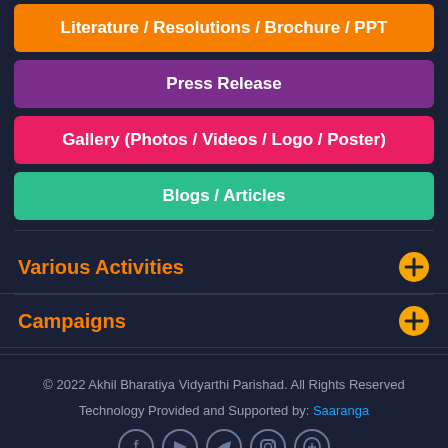Literature / Resolutions / Brochure / PPT
Press Release
Gallery (Photos / Videos / Logo / Poster)
Blogs / Articles
Various Activities
Campaigns
© 2022 Akhil Bharatiya Vidyarthi Parishad. All Rights Reserved
Technology Provided and Supported by: Saaranga